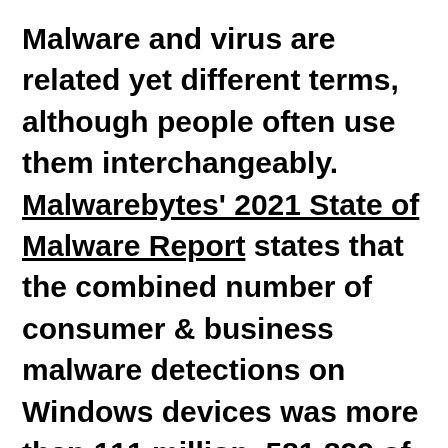Malware and virus are related yet different terms, although people often use them interchangeably. Malwarebytes' 2021 State of Malware Report states that the combined number of consumer & business malware detections on Windows devices was more than 111 million, 581,829 of